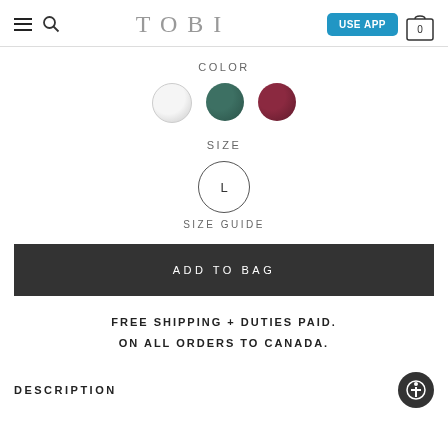TOBI — USE APP
COLOR
[Figure (illustration): Three color swatches: white/cream circle, dark teal/green circle, dark burgundy circle]
SIZE
[Figure (illustration): Size selector button showing L in a circle]
SIZE GUIDE
ADD TO BAG
FREE SHIPPING + DUTIES PAID.
ON ALL ORDERS TO CANADA.
DESCRIPTION